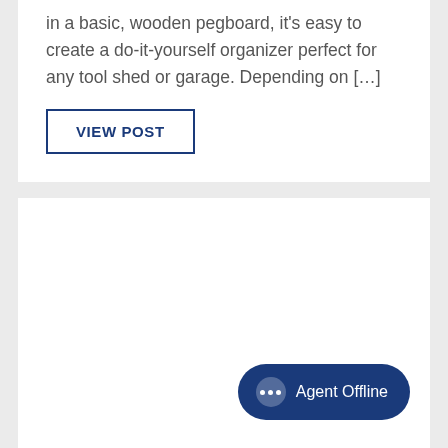in a basic, wooden pegboard, it's easy to create a do-it-yourself organizer perfect for any tool shed or garage. Depending on […]
VIEW POST
Agent Offline